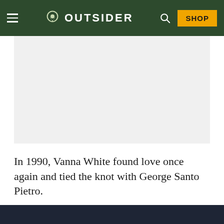OUTSIDER
[Figure (photo): Light gray placeholder image area for an article photo]
In 1990, Vanna White found love once again and tied the knot with George Santo Pietro.
He and his partner...with George Santo Pietro...